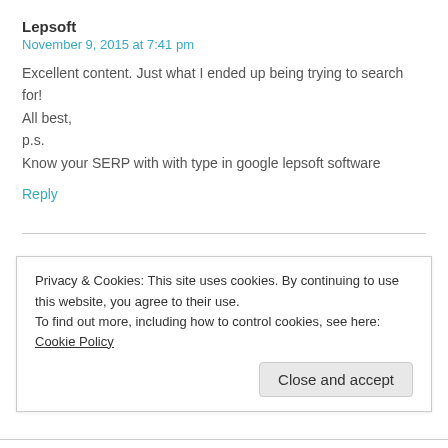Lepsoft
November 9, 2015 at 7:41 pm
Excellent content. Just what I ended up being trying to search for!
All best,
p.s.
Know your SERP with with type in google lepsoft software
Reply
sonshiner1983
November 25, 2015 at 8:51 pm
Doctors should tell patients what to expect like alot of burning
Privacy & Cookies: This site uses cookies. By continuing to use this website, you agree to their use.
To find out more, including how to control cookies, see here: Cookie Policy
Close and accept